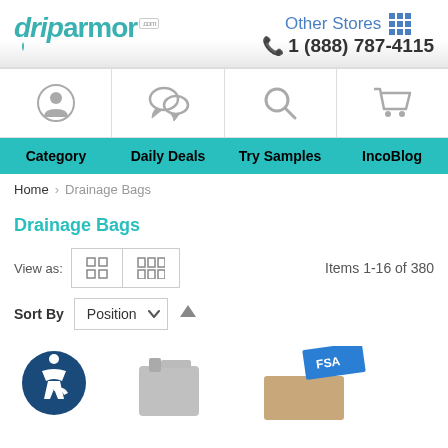[Figure (logo): DripArmor.com logo with teal text and drop graphic]
Other Stores  1 (888) 787-4115
[Figure (infographic): Icon navigation bar with person, chat bubble, search, and cart icons]
Category  Daily Deals  Try Samples  IncoBlog
Home > Drainage Bags
Drainage Bags
View as:
Items 1-16 of 380
Sort By  Position
[Figure (photo): Partial product thumbnails showing drainage bag products and an accessibility icon]